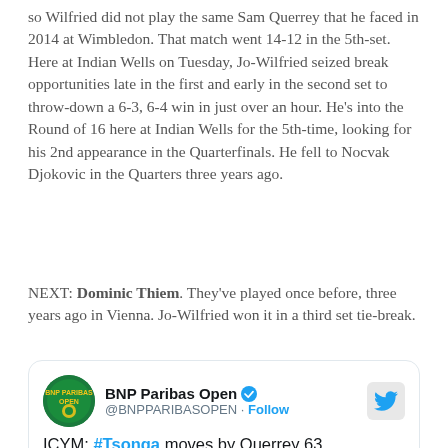so Wilfried did not play the same Sam Querrey that he faced in 2014 at Wimbledon. That match went 14-12 in the 5th-set. Here at Indian Wells on Tuesday, Jo-Wilfried seized break opportunities late in the first and early in the second set to throw-down a 6-3, 6-4 win in just over an hour. He's into the Round of 16 here at Indian Wells for the 5th-time, looking for his 2nd appearance in the Quarterfinals. He fell to Nocvak Djokovic in the Quarters three years ago.
NEXT: Dominic Thiem. They've played once before, three years ago in Vienna. Jo-Wilfried won it in a third set tie-break.
[Figure (screenshot): Embedded tweet from BNP Paribas Open (@BNPPARIBASOPEN) with verified badge and Follow link. Tweet text begins: ICYM: #Tsonga moves by Querrey 63]